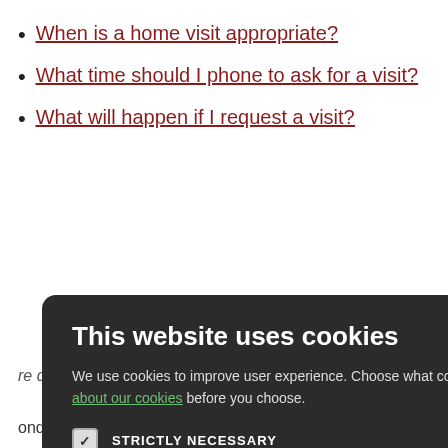When is a home visit appropriate?
What time should I phone to ask for a visit?
What will happen if I request a visit?
to the surgery
[Figure (screenshot): Cookie consent modal overlay with dark background. Title: 'This website uses cookies'. Body text: 'We use cookies to improve user experience. Choose what cookies you allow us to use. You can read more about our cookies before you choose.' Four options with checkboxes: STRICTLY NECESSARY (checked), PERFORMANCE (unchecked), TARGETING (unchecked), FUNCTIONALITY (unchecked). Two buttons: ACCEPT ALL (green) and DECLINE ALL (outlined).]
ondition may deteriorate during a journey to the surgery.
re desirable for s